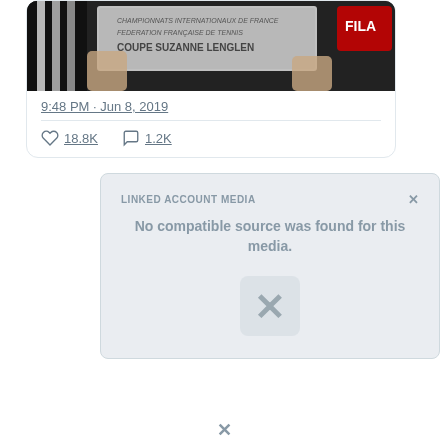[Figure (photo): Photo of someone holding the Coupe Suzanne Lenglen trophy at Roland Garros, with text engraved on the metallic trophy surface.]
9:48 PM · Jun 8, 2019
18.8K likes, 1.2K comments
[Figure (screenshot): Blocked content card showing 'No compatible source was found for this media.' with an X logo watermark.]